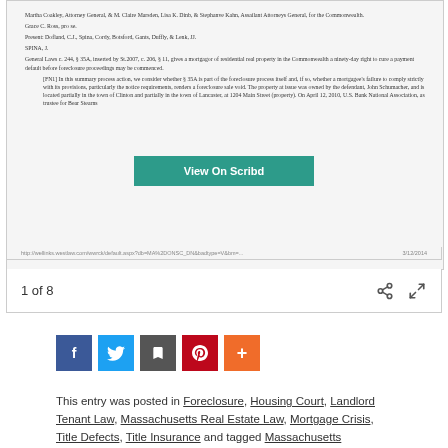[Figure (screenshot): Scanned legal document page showing a Massachusetts court case about foreclosure and mortgagor rights, with text from attorneys and judges including SPINA J., discussing General Laws c. 244 § 35A and a summary process action.]
http://wellinks.westlaw.com/wwrck/default.aspx?db=MA%2DONSC_DN&badtype=V&bm=...    3/12/2014
View On Scribd
1 of 8
This entry was posted in Foreclosure, Housing Court, Landlord Tenant Law, Massachusetts Real Estate Law, Mortgage Crisis, Title Defects, Title Insurance and tagged Massachusetts foreclosure